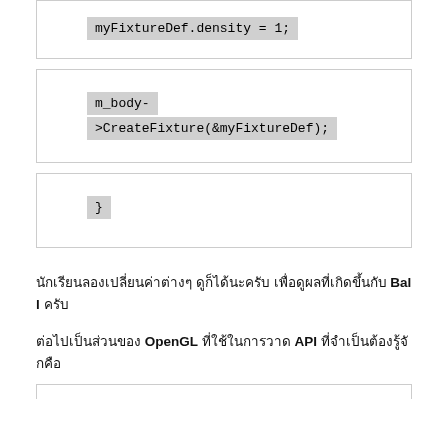myFixtureDef.density = 1;
m_body->CreateFixture(&myFixtureDef);
}
นักเรียนลองเปลี่ยนค่าต่างๆ ดูก็ได้นะครับ เพื่อดูผลที่เกิดขึ้นกับ Ball ครับ
ต่อไปเป็นส่วนของ OpenGL ที่ใช้ในการวาด API ที่จำเป็นต้องรู้จักคือ